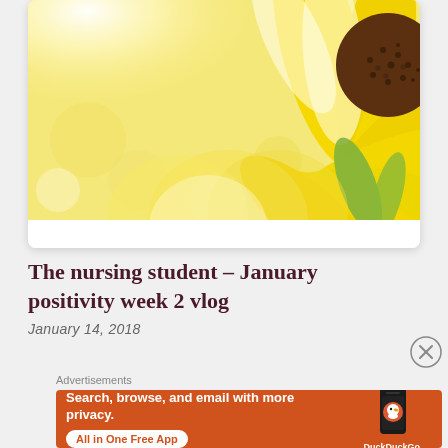[Figure (photo): Close-up photo of a sunflower with bright yellow petals and bokeh background, sunlight visible in upper left]
The nursing student – January positivity week 2 vlog
January 14, 2018
[Figure (infographic): DuckDuckGo advertisement banner: Search, browse, and email with more privacy. All in One Free App. Shows DuckDuckGo logo on phone mockup.]